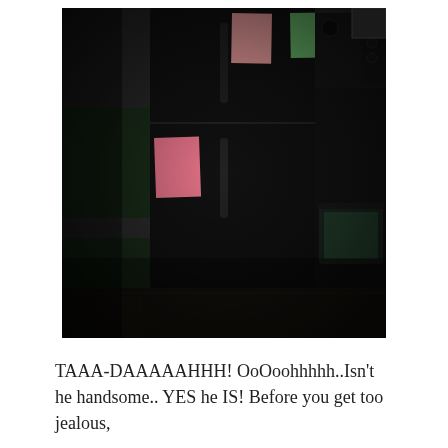[Figure (photo): A dark kitchen scene showing a black refrigerator with colorful papers and magnets on its surface, positioned next to a black stove/oven. The wall behind has green and white paint. The oven door window shows a greenish reflection. The photo is dark and moody.]
TAAA-DAAAAAHHH! OoOoohhhhh..Isn't he handsome.. YES he IS! Before you get too jealous,